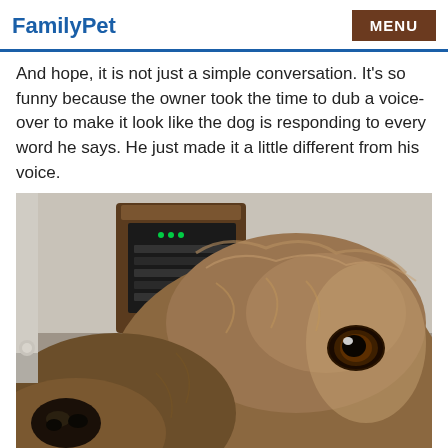FamilyPet  MENU
And hope, it is not just a simple conversation. It's so funny because the owner took the time to dub a voice-over to make it look like the dog is responding to every word he says. He just made it a little different from his voice.
[Figure (photo): Close-up photo of a dog's face (German Shepherd mix or similar breed) with brown fur and a dark nose, looking to the side. In the background is a wooden cabinet with electronic equipment.]